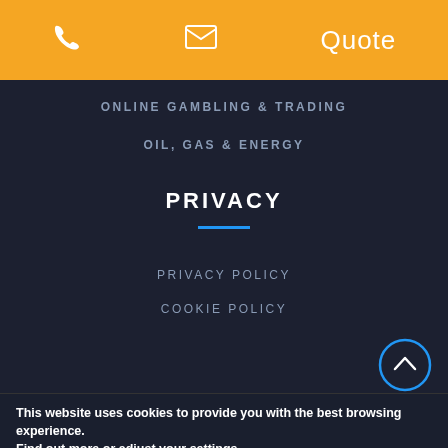📞  ✉  Quote
ONLINE GAMBLING & TRADING
OIL, GAS & ENERGY
PRIVACY
PRIVACY POLICY
COOKIE POLICY
This website uses cookies to provide you with the best browsing experience. Find out more or adjust your settings.
Accept